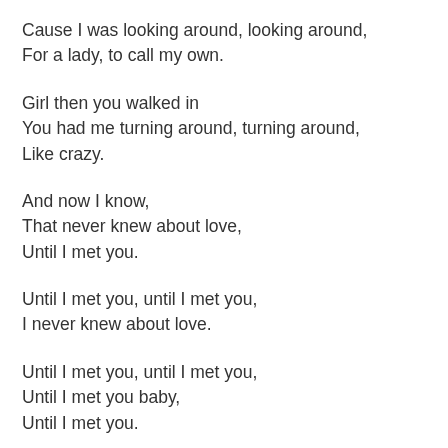Cause I was looking around, looking around,
For a lady, to call my own.
Girl then you walked in
You had me turning around, turning around,
Like crazy.
And now I know,
That never knew about love,
Until I met you.
Until I met you, until I met you,
I never knew about love.
Until I met you, until I met you,
Until I met you baby,
Until I met you.
The way you got me feeling,